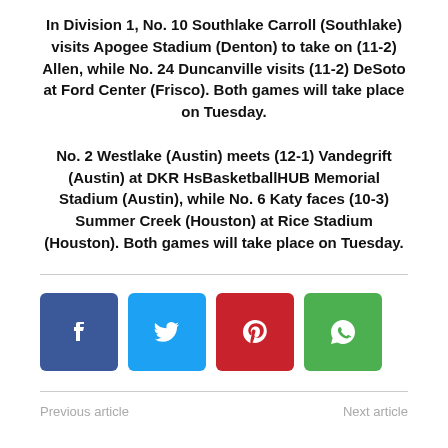In Division 1, No. 10 Southlake Carroll (Southlake) visits Apogee Stadium (Denton) to take on (11-2) Allen, while No. 24 Duncanville visits (11-2) DeSoto at Ford Center (Frisco). Both games will take place on Tuesday.
No. 2 Westlake (Austin) meets (12-1) Vandegrift (Austin) at DKR HsBasketballHUB Memorial Stadium (Austin), while No. 6 Katy faces (10-3) Summer Creek (Houston) at Rice Stadium (Houston). Both games will take place on Tuesday.
[Figure (infographic): Social sharing buttons: Facebook (blue), Twitter (cyan), Pinterest (red), WhatsApp (green)]
Previous article    Next article